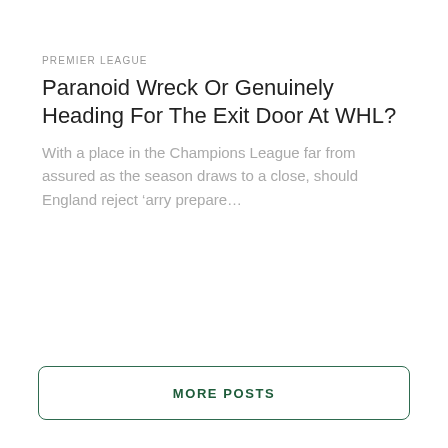PREMIER LEAGUE
Paranoid Wreck Or Genuinely Heading For The Exit Door At WHL?
With a place in the Champions League far from assured as the season draws to a close, should England reject ‘arry prepare...
MORE POSTS